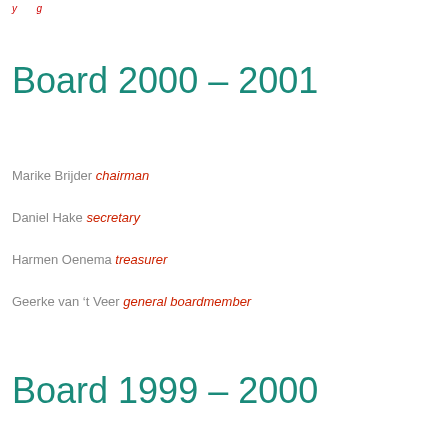y ... g
Board 2000 – 2001
Marike Brijder chairman
Daniel Hake secretary
Harmen Oenema treasurer
Geerke van 't Veer general boardmember
Board 1999 – 2000